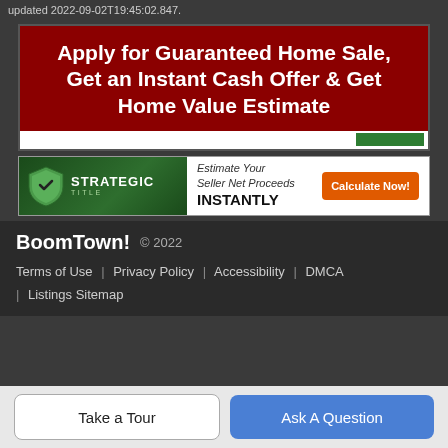updated 2022-09-02T19:45:02.847.
[Figure (infographic): Red background banner advertisement: 'Apply for Guaranteed Home Sale, Get an Instant Cash Offer & Get Home Value Estimate' with a white input bar and green button at bottom]
[Figure (infographic): Strategic Title banner ad with dark green background on left showing shield logo and 'STRATEGIC TITLE' text, white right side with 'Estimate Your Seller Net Proceeds INSTANTLY' text and orange 'Calculate Now!' button]
BoomTown! © 2022
Terms of Use | Privacy Policy | Accessibility | DMCA | Listings Sitemap
Take a Tour
Ask A Question